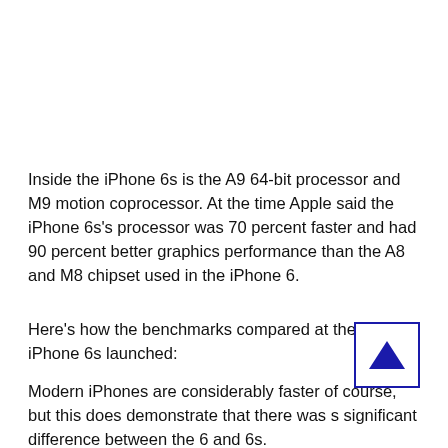Inside the iPhone 6s is the A9 64-bit processor and M9 motion coprocessor. At the time Apple said the iPhone 6s's processor was 70 percent faster and had 90 percent better graphics performance than the A8 and M8 chipset used in the iPhone 6.
Here's how the benchmarks compared at the time the iPhone 6s launched:
[Figure (other): A scroll-to-top button with a dark blue upward-pointing triangle inside a bordered square box]
Modern iPhones are considerably faster of course, but this does demonstrate that there was s significant difference between the 6 and 6s.